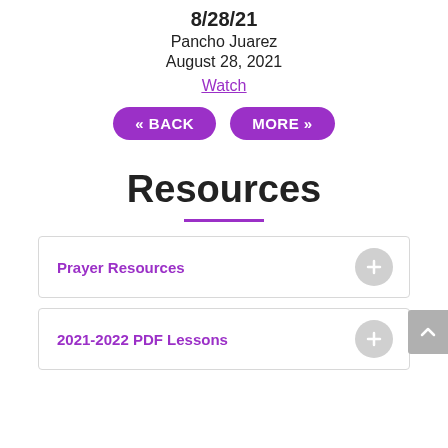8/28/21
Pancho Juarez
August 28, 2021
Watch
« BACK
MORE »
Resources
Prayer Resources
2021-2022 PDF Lessons